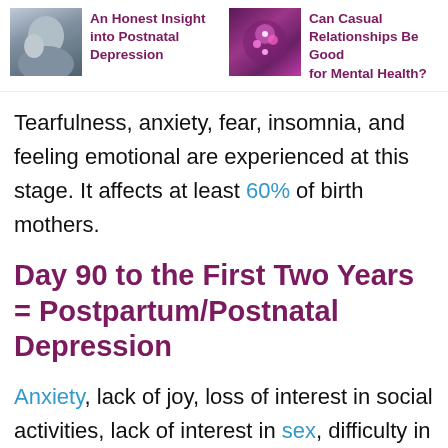[Figure (other): Two article thumbnails: left shows a mother with baby (postnatal depression article), right shows a glowing/sparkle image (casual relationships article)]
An Honest Insight into Postnatal Depression | Can Casual Relationships Be Good for Mental Health?
Tearfulness, anxiety, fear, insomnia, and feeling emotional are experienced at this stage. It affects at least 60% of birth mothers.
Day 90 to the First Two Years = Postpartum/Postnatal Depression
Anxiety, lack of joy, loss of interest in social activities, lack of interest in sex, difficulty in concentrating, changes in appetite, and feelings